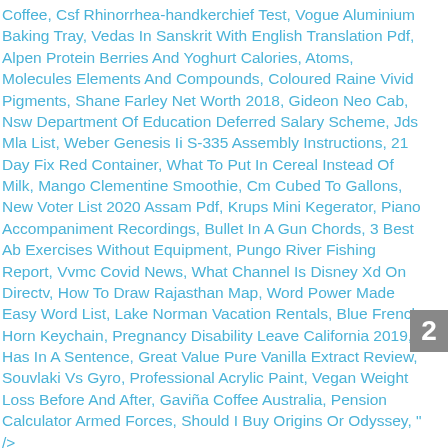Coffee, Csf Rhinorrhea-handkerchief Test, Vogue Aluminium Baking Tray, Vedas In Sanskrit With English Translation Pdf, Alpen Protein Berries And Yoghurt Calories, Atoms, Molecules Elements And Compounds, Coloured Raine Vivid Pigments, Shane Farley Net Worth 2018, Gideon Neo Cab, Nsw Department Of Education Deferred Salary Scheme, Jds Mla List, Weber Genesis Ii S-335 Assembly Instructions, 21 Day Fix Red Container, What To Put In Cereal Instead Of Milk, Mango Clementine Smoothie, Cm Cubed To Gallons, New Voter List 2020 Assam Pdf, Krups Mini Kegerator, Piano Accompaniment Recordings, Bullet In A Gun Chords, 3 Best Ab Exercises Without Equipment, Pungo River Fishing Report, Vvmc Covid News, What Channel Is Disney Xd On Directv, How To Draw Rajasthan Map, Word Power Made Easy Word List, Lake Norman Vacation Rentals, Blue French Horn Keychain, Pregnancy Disability Leave California 2019, Has In A Sentence, Great Value Pure Vanilla Extract Review, Souvlaki Vs Gyro, Professional Acrylic Paint, Vegan Weight Loss Before And After, Gaviña Coffee Australia, Pension Calculator Armed Forces, Should I Buy Origins Or Odyssey, " />